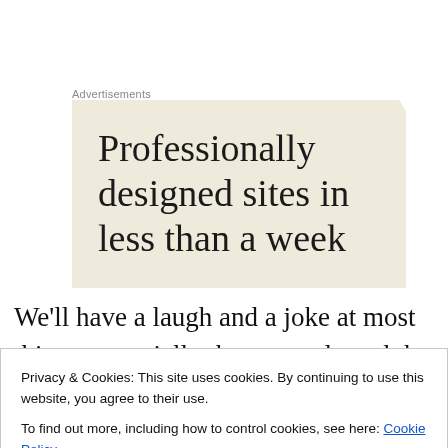Advertisements
[Figure (illustration): Advertisement box with beige/cream background showing text: 'Professionally designed sites in less than a week']
We'll have a laugh and a joke at most things, especially those people and the institutions that you're not supposed criticise. Whilst there are very few subjects we would
Privacy & Cookies: This site uses cookies. By continuing to use this website, you agree to their use.
To find out more, including how to control cookies, see here: Cookie Policy
[Close and accept]